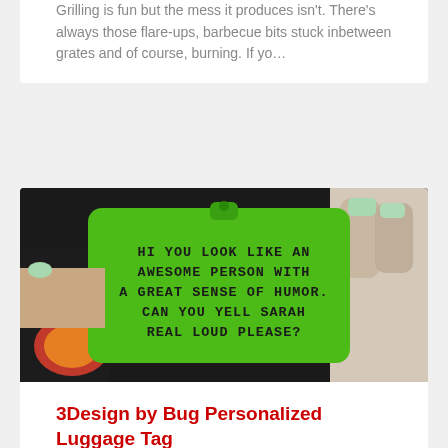Grilling is fun but the mess it produces isn't. There's always those flare-ups, barbecue bits stuck inbetween grates and of course, burning. If yo…
[Figure (photo): A person holding a bright green luggage tag that reads: HI YOU LOOK LIKE AN AWESOME PERSON WITH A GREAT SENSE OF HUMOR. CAN YOU YELL SARAH REAL LOUD PLEASE?]
3Design by Bug Personalized Luggage Tag
Frequent travelers have a lot of problems, and lost